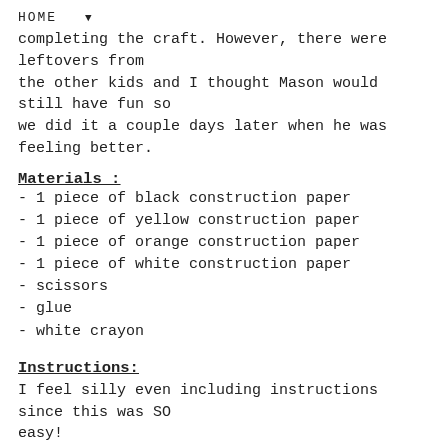HOME ▼
completing the craft. However, there were leftovers from the other kids and I thought Mason would still have fun so we did it a couple days later when he was feeling better.
Materials :
- 1 piece of black construction paper
- 1 piece of yellow construction paper
- 1 piece of orange construction paper
- 1 piece of white construction paper
- scissors
- glue
- white crayon
Instructions:
I feel silly even including instructions since this was SO easy!
First, I took the white crayon and the black construction paper and I drew a candy corn shape (a triangle with rounded sides) and then drew two lines inside to make three different...